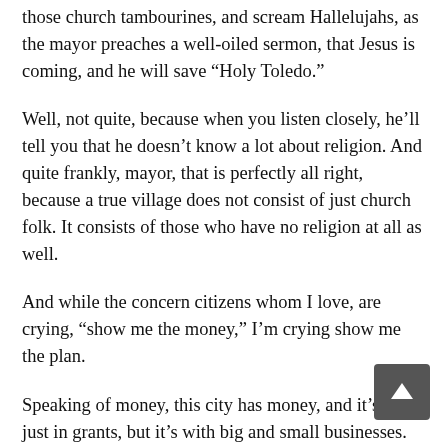those church tambourines, and scream Hallelujahs, as the mayor preaches a well-oiled sermon, that Jesus is coming, and he will save “Holy Toledo.”
Well, not quite, because when you listen closely, he’ll tell you that he doesn’t know a lot about religion. And quite frankly, mayor, that is perfectly all right, because a true village does not consist of just church folk. It consists of those who have no religion at all as well.
And while the concern citizens whom I love, are crying, "show me the money,” I’m crying show me the plan.
Speaking of money, this city has money, and it’s not just in grants, but it’s with big and small businesses. They will not unleash those mighty coffers that we need to make a significant difference, until someone can show them much more bang for their buck. Aren't we tired of asking people for peanuts that they will use as deductions for their taxes? We need investors, they are a part of the